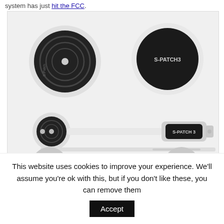system has just hit the FCC.
[Figure (photo): Exploded/layered product view of S-PATCH3 wireless ECG patch device. Top row shows two circular sensors side by side — left is a dark circular sensor with concentric rings and a center dot, right is a dark circular sensor labeled 'S-PATCH3' inside a light circular housing. Middle row shows the assembled sensor bar with the dark sensor on the left connected by a white rod to an elongated dark module labeled 'S-PATCH 3' on the right with mounting tabs. Below that is a flat white separator bar. Bottom row shows the device with light-gray disc covers on left and right ends of the white bar, each with red cable connectors hanging below.]
This website uses cookies to improve your experience. We'll assume you're ok with this, but if you don't like these, you can remove them
Accept